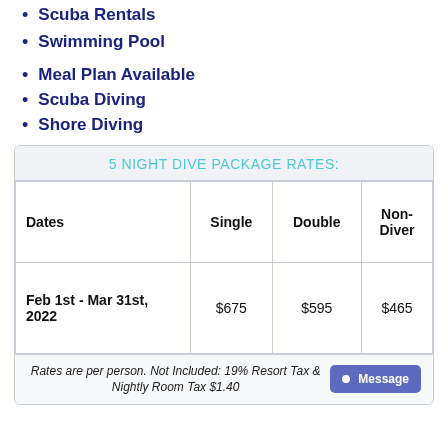Scuba Rentals
Swimming Pool
Meal Plan Available
Scuba Diving
Shore Diving
| Dates | Single | Double | Non-Diver |
| --- | --- | --- | --- |
| Feb 1st - Mar 31st, 2022 | $675 | $595 | $465 |
Rates are per person. Not Included: 19% Resort Tax & Nightly Room Tax $1.40